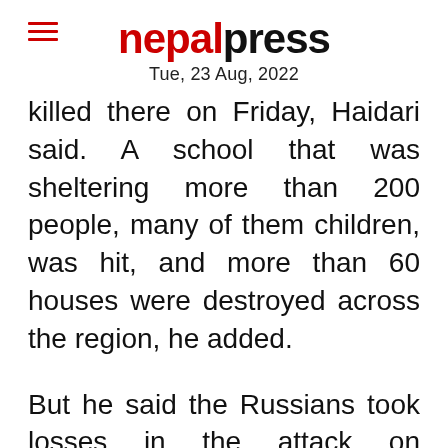nepal press — Tue, 23 Aug, 2022
killed there on Friday, Haidari said. A school that was sheltering more than 200 people, many of them children, was hit, and more than 60 houses were destroyed across the region, he added.
But he said the Russians took losses in the attack on Severodonetsk and were forced to retreat. His account could not be independently verified